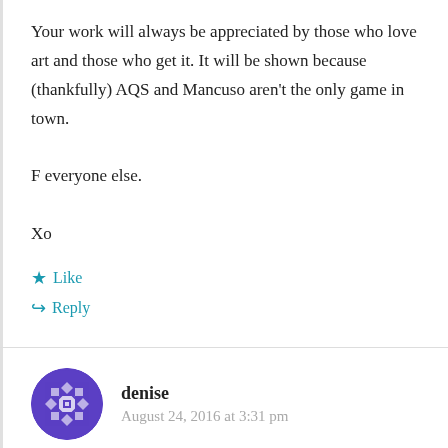Your work will always be appreciated by those who love art and those who get it. It will be shown because (thankfully) AQS and Mancuso aren't the only game in town.
F everyone else.
Xo
Like
Reply
denise
August 24, 2016 at 3:31 pm
And here was me thinking art is meant to confront,